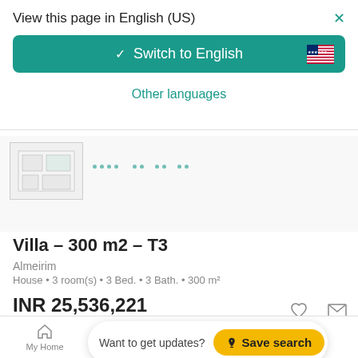View this page in English (US)
Switch to English
Other languages
[Figure (screenshot): Floor plan thumbnail with dots and legend showing area measurements]
Villa – 300 m2 – T3
Almeirim
House • 3 room(s) • 3 Bed. • 3 Bath. • 300 m²
INR 25,536,221
Want to get updates? Save search
Rui FRANCISCO
My Home  Search  Favorites  More